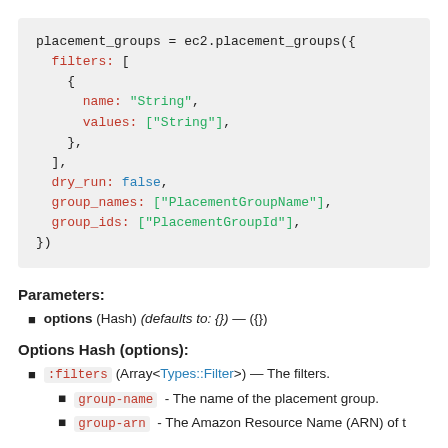[Figure (screenshot): Code block showing placement_groups = ec2.placement_groups({ filters: [{ name: "String", values: ["String"], },], dry_run: false, group_names: ["PlacementGroupName"], group_ids: ["PlacementGroupId"], })]
Parameters:
options (Hash) (defaults to: {}) — ({})
Options Hash (options):
:filters (Array<Types::Filter>) — The filters.
group-name - The name of the placement group.
group-arn - The Amazon Resource Name (ARN) of t